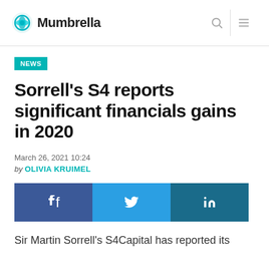Mumbrella
NEWS
Sorrell's S4 reports significant financials gains in 2020
March 26, 2021 10:24
by OLIVIA KRUIMEL
[Figure (infographic): Social share buttons: Facebook, Twitter, LinkedIn]
Sir Martin Sorrell's S4Capital has reported its